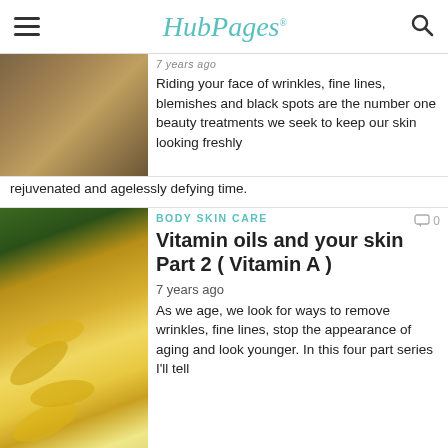HubPages
[Figure (photo): Partial view of a metallic/reflective surface, brownish tones]
7 years ago
Riding your face of wrinkles, fine lines, blemishes and black spots are the number one beauty treatments we seek to keep our skin looking freshly rejuvenated and agelessly defying time.
BODY SKIN CARE
Vitamin oils and your skin Part 2 ( Vitamin A )
[Figure (photo): Yellow/golden vitamin oil gel capsules spilling from a green container]
7 years ago
As we age, we look for ways to remove wrinkles, fine lines, stop the appearance of aging and look younger. In this four part series I'll tell you how.
BODY SKIN CARE
[Figure (photo): Partially visible article thumbnail with text 'COMPARE AND SAVE']